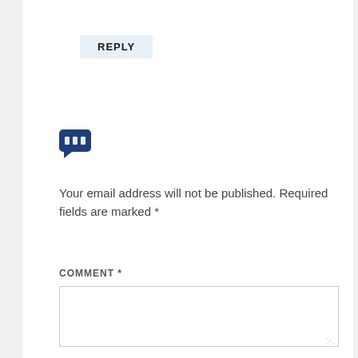REPLY
[Figure (illustration): Dark blue speech/chat bubble icon]
Your email address will not be published. Required fields are marked *
COMMENT *
[Figure (screenshot): Empty comment textarea input box with resize handle]